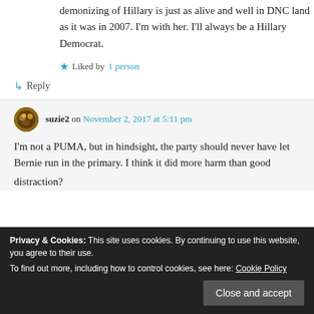demonizing of Hillary is just as alive and well in DNC land as it was in 2007. I'm with her. I'll always be a Hillary Democrat.
Liked by 1 person
↳ Reply
suzie2 on November 2, 2017 at 5:11 pm
I'm not a PUMA, but in hindsight, the party should never have let Bernie run in the primary. I think it did more harm than good
distraction?
Privacy & Cookies: This site uses cookies. By continuing to use this website, you agree to their use. To find out more, including how to control cookies, see here: Cookie Policy
Close and accept